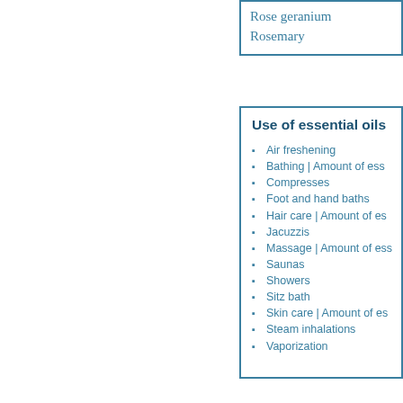| Rose geranium |
| Rosemary |
Use of essential oils
Air freshening
Bathing | Amount of esse...
Compresses
Foot and hand baths
Hair care | Amount of es...
Jacuzzis
Massage | Amount of ess...
Saunas
Showers
Sitz bath
Skin care | Amount of es...
Steam inhalations
Vaporization